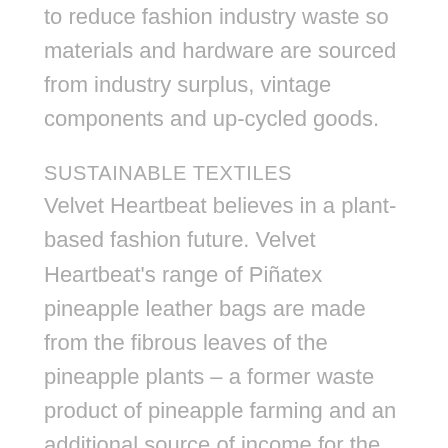to reduce fashion industry waste so materials and hardware are sourced from industry surplus, vintage components and up-cycled goods.
SUSTAINABLE TEXTILES
Velvet Heartbeat believes in a plant-based fashion future. Velvet Heartbeat’s range of Piñatex pineapple leather bags are made from the fibrous leaves of the pineapple plants – a former waste product of pineapple farming and an additional source of income for the farmers. Velvet Heartbeat is always looking into new cutting edge sustainable textile technologies so stay tuned!
SLOW FASHION
There is nothing glamorous about mass production and fast fashion. The fact that overproduced